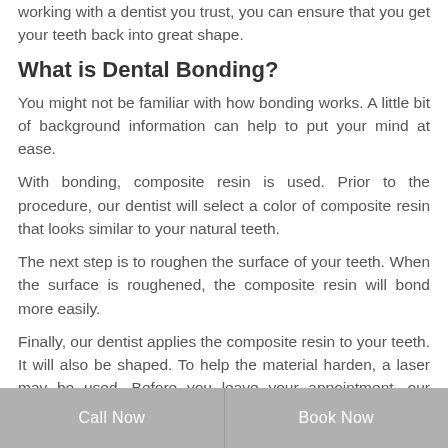working with a dentist you trust, you can ensure that you get your teeth back into great shape.
What is Dental Bonding?
You might not be familiar with how bonding works. A little bit of background information can help to put your mind at ease.
With bonding, composite resin is used. Prior to the procedure, our dentist will select a color of composite resin that looks similar to your natural teeth.
The next step is to roughen the surface of your teeth. When the surface is roughened, the composite resin will bond more easily.
Finally, our dentist applies the composite resin to your teeth. It will also be shaped. To help the material harden, a laser may be used. Before you leave your appointment, our dentist will polish your teeth.
Call Now | Book Now